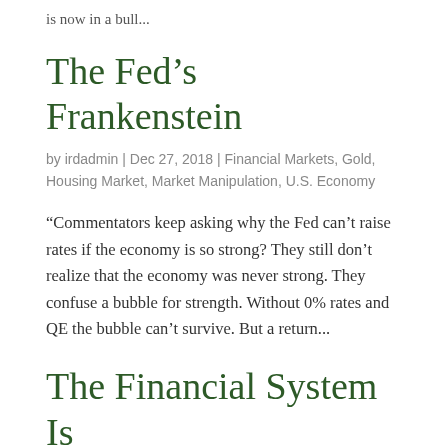is now in a bull...
The Fed's Frankenstein
by irdadmin | Dec 27, 2018 | Financial Markets, Gold, Housing Market, Market Manipulation, U.S. Economy
“Commentators keep asking why the Fed can’t raise rates if the economy is so strong? They still don’t realize that the economy was never strong. They confuse a bubble for strength. Without 0% rates and QE the bubble can’t survive. But a return...
The Financial System Is Becoming Increasingly